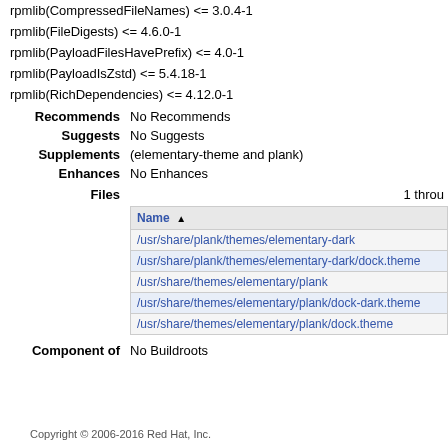rpmlib(CompressedFileNames) <= 3.0.4-1
rpmlib(FileDigests) <= 4.6.0-1
rpmlib(PayloadFilesHavePrefix) <= 4.0-1
rpmlib(PayloadIsZstd) <= 5.4.18-1
rpmlib(RichDependencies) <= 4.12.0-1
Recommends: No Recommends
Suggests: No Suggests
Supplements: (elementary-theme and plank)
Enhances: No Enhances
Files: 1 throu...
| Name ▲ |
| --- |
| /usr/share/plank/themes/elementary-dark |
| /usr/share/plank/themes/elementary-dark/dock.theme |
| /usr/share/themes/elementary/plank |
| /usr/share/themes/elementary/plank/dock-dark.theme |
| /usr/share/themes/elementary/plank/dock.theme |
Component of: No Buildroots
Copyright © 2006-2016 Red Hat, Inc.